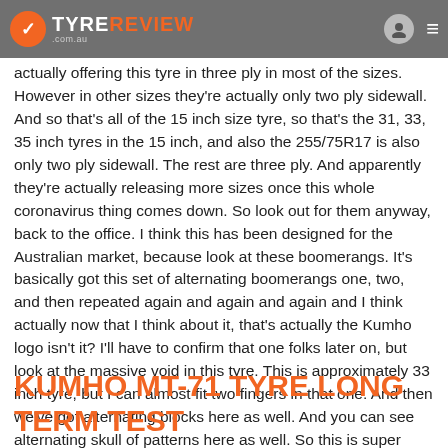TYRE REVIEW .com.au
actually offering this tyre in three ply in most of the sizes. However in other sizes they're actually only two ply sidewall. And so that's all of the 15 inch size tyre, so that's the 31, 33, 35 inch tyres in the 15 inch, and also the 255/75R17 is also only two ply sidewall. The rest are three ply. And apparently they're actually releasing more sizes once this whole coronavirus thing comes down. So look out for them anyway, back to the office. I think this has been designed for the Australian market, because look at these boomerangs. It's basically got this set of alternating boomerangs one, two, and then repeated again and again and again and I think actually now that I think about it, that's actually the Kumho logo isn't it? I'll have to confirm that one folks later on, but look at the massive void in this tyre. This is approximately 33 inch tyre, but I can almost fit two fingers in that one. And then we've got alternating blocks here as well. And you can see alternating skull of patterns here as well. So this is super aggressive. If you don't rotate this tyre, you're gonna know about it, so make sure you rotate this tyre. Only five or 10,000 Ks at the most. You can also see here they've got these ejectors which are actually gonna help really get the mud and crap out of the tyre pattern.
KUMHO MT-71 TYRE LONG TERM TEST